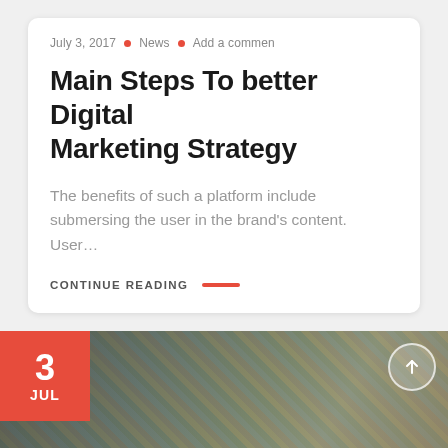July 3, 2017 • News • Add a commen
Main Steps To better Digital Marketing Strategy
The benefits of such a platform include submersing the user in the brand's content. User...
CONTINUE READING
[Figure (photo): Photo of a person holding color swatches/fan deck, with a red date badge showing '3 JUL' in bottom left corner and an arrow circle icon in top right]